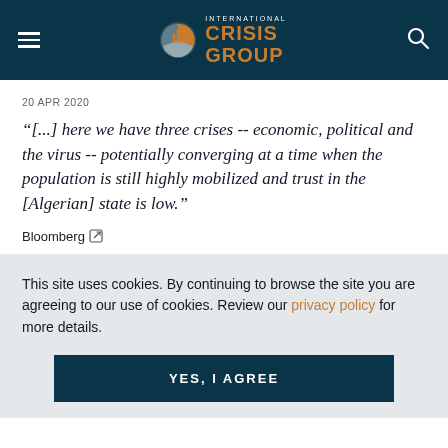International Crisis Group
20 APR 2020
“[...] here we have three crises -- economic, political and the virus -- potentially converging at a time when the population is still highly mobilized and trust in the [Algerian] state is low.”
Bloomberg
This site uses cookies. By continuing to browse the site you are agreeing to our use of cookies. Review our privacy policy for more details.
YES, I AGREE